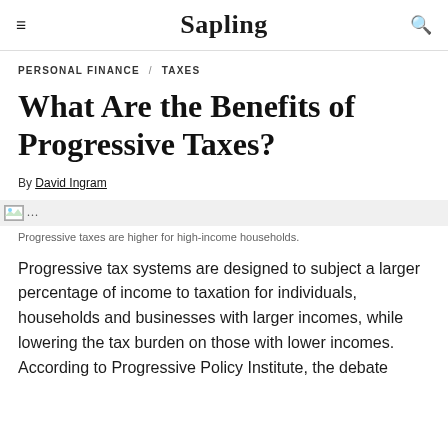Sapling
PERSONAL FINANCE / TAXES
What Are the Benefits of Progressive Taxes?
By David Ingram
[Figure (photo): Image placeholder for an article about progressive taxes — higher for high-income households.]
Progressive taxes are higher for high-income households.
Progressive tax systems are designed to subject a larger percentage of income to taxation for individuals, households and businesses with larger incomes, while lowering the tax burden on those with lower incomes. According to Progressive Policy Institute, the debate...